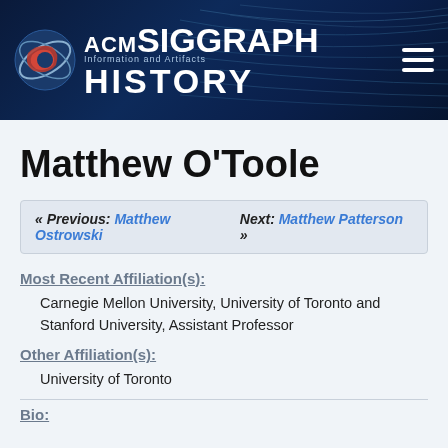[Figure (logo): ACM SIGGRAPH Information and Artifacts HISTORY website banner header with logo and navigation]
Matthew O'Toole
« Previous: Matthew Ostrowski   Next: Matthew Patterson »
Most Recent Affiliation(s):
Carnegie Mellon University, University of Toronto and Stanford University, Assistant Professor
Other Affiliation(s):
University of Toronto
Bio: